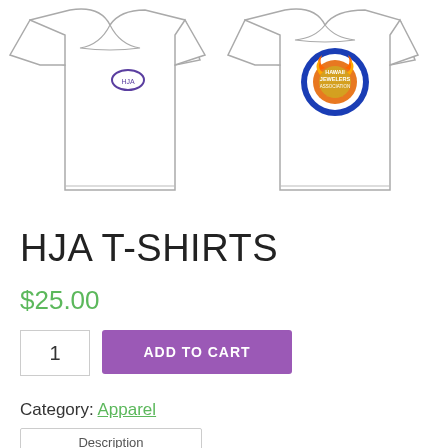[Figure (photo): Two white t-shirts shown front and back. Front view on left shows a small purple logo on chest. Back view on right shows a circular Hawaii Jewelers Association badge/logo in blue, orange and gold.]
HJA T-SHIRTS
$25.00
1
ADD TO CART
Category: Apparel